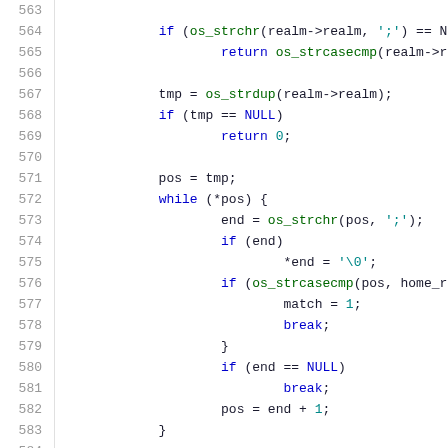[Figure (screenshot): Source code viewer showing C code lines 563-584 with syntax highlighting. Line numbers in gray on left, keywords in blue, function names in green, string/char literals in teal.]